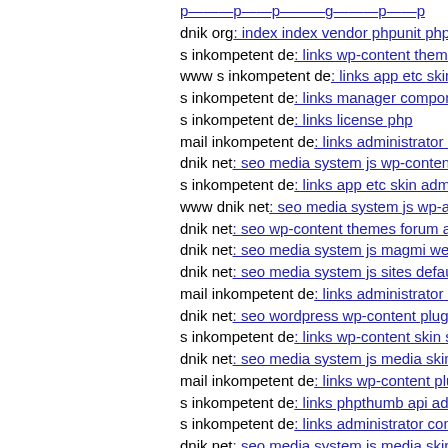dnik org: index index vendor phpunit phpunit src util log 1
s inkompetent de: links wp-content themes coffeebreak js s
www s inkompetent de: links app etc skin jwallpapers files
s inkompetent de: links manager components'agyre
s inkompetent de: links license php
mail inkompetent de: links administrator components com
dnik net: seo media system js wp-content themes koi style
s inkompetent de: links app etc skin administrator wp-cont
www dnik net: seo media system js wp-admin includes plu
dnik net: seo wp-content themes forum api xmlrpc
dnik net: seo media system js magmi web skin media syste
dnik net: seo media system js sites default files images sto
mail inkompetent de: links administrator components com
dnik net: seo wordpress wp-content plugins ioptimization i
s inkompetent de: links wp-content skin skin media downl
dnik net: seo media system js media skin wp-includes wp-
mail inkompetent de: links wp-content plugins simple-ads-
s inkompetent de: links phpthumb api admin administrator
s inkompetent de: links administrator components com sim
dnik net: seo media system js media skin wp-includes simp